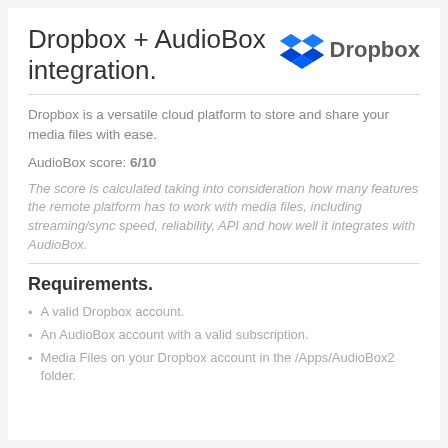Dropbox + AudioBox integration.
[Figure (logo): Dropbox logo with blue box icon and 'Dropbox' text in dark gray]
Dropbox is a versatile cloud platform to store and share your media files with ease.
AudioBox score: 6/10
The score is calculated taking into consideration how many features the remote platform has to work with media files, including streaming/sync speed, reliability, API and how well it integrates with AudioBox.
Requirements.
A valid Dropbox account.
An AudioBox account with a valid subscription.
Media Files on your Dropbox account in the /Apps/AudioBox2 folder.